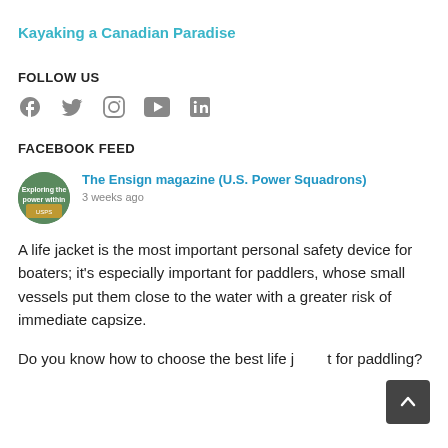Kayaking a Canadian Paradise
FOLLOW US
[Figure (infographic): Social media icons: Facebook, Twitter, Instagram, YouTube, LinkedIn]
FACEBOOK FEED
The Ensign magazine (U.S. Power Squadrons)
3 weeks ago
A life jacket is the most important personal safety device for boaters; it's especially important for paddlers, whose small vessels put them close to the water with a greater risk of immediate capsize.
Do you know how to choose the best life jacket for paddling?